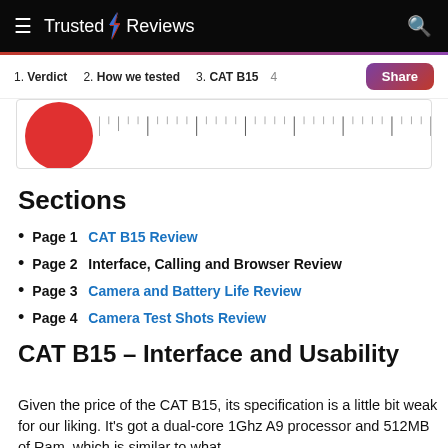≡ Trusted Reviews  🔍
1. Verdict   2. How we tested   3. CAT B15   4   Share
[Figure (screenshot): Partial view of a red circle/badge and a ruler measuring scale]
Sections
Page 1   CAT B15 Review
Page 2   Interface, Calling and Browser Review
Page 3   Camera and Battery Life Review
Page 4   Camera Test Shots Review
CAT B15 – Interface and Usability
Given the price of the CAT B15, its specification is a little bit weak for our liking. It's got a dual-core 1Ghz A9 processor and 512MB of Ram, which is similar to what